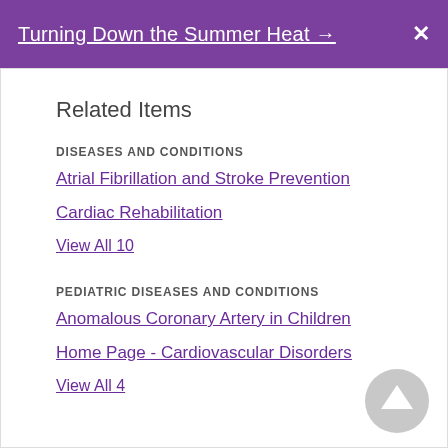Turning Down the Summer Heat →  X
Related Items
DISEASES AND CONDITIONS
Atrial Fibrillation and Stroke Prevention
Cardiac Rehabilitation
View All 10
PEDIATRIC DISEASES AND CONDITIONS
Anomalous Coronary Artery in Children
Home Page - Cardiovascular Disorders
View All 4